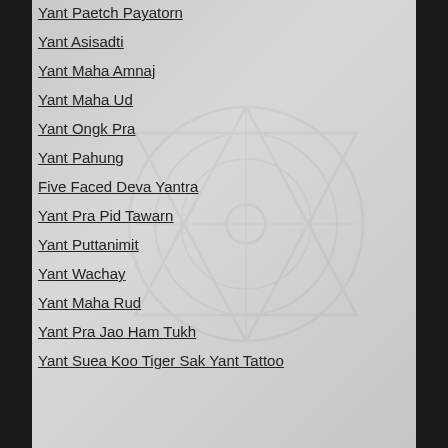Yant Paetch Payatorn
Yant Asisadti
Yant Maha Amnaj
Yant Maha Ud
Yant Ongk Pra
Yant Pahung
Five Faced Deva Yantra
Yant Pra Pid Tawarn
Yant Puttanimit
Yant Wachay
Yant Maha Rud
Yant Pra Jao Ham Tukh
Yant Suea Koo Tiger Sak Yant Tattoo